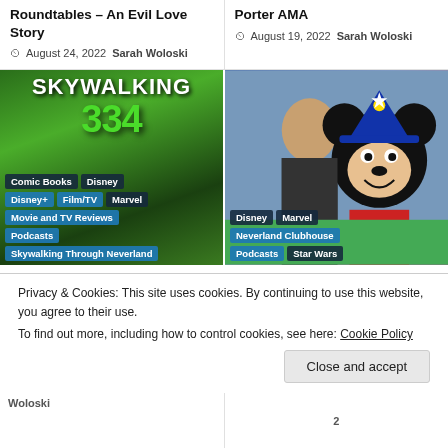Roundtables – An Evil Love Story
August 24, 2022  Sarah Woloski
Porter AMA
August 19, 2022  Sarah Woloski
[Figure (photo): Skywalking Through Neverland podcast logo with green stylized numbers and text]
[Figure (photo): Mickey Mouse in wizard hat with smiling woman at a Disney event]
Privacy & Cookies: This site uses cookies. By continuing to use this website, you agree to their use.
To find out more, including how to control cookies, see here: Cookie Policy
Close and accept
Woloski
2